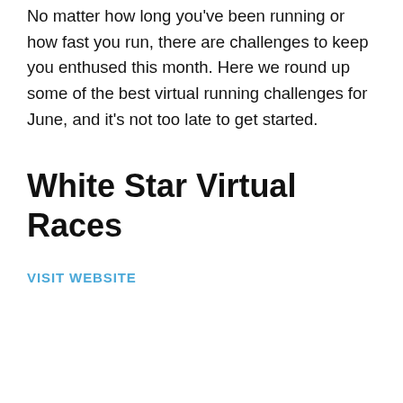No matter how long you've been running or how fast you run, there are challenges to keep you enthused this month. Here we round up some of the best virtual running challenges for June, and it's not too late to get started.
White Star Virtual Races
VISIT WEBSITE